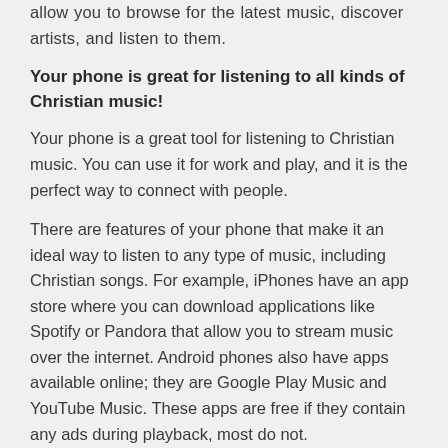allow you to browse for the latest music, discover artists, and listen to them.
Your phone is great for listening to all kinds of Christian music!
Your phone is a great tool for listening to Christian music. You can use it for work and play, and it is the perfect way to connect with people.
There are features of your phone that make it an ideal way to listen to any type of music, including Christian songs. For example, iPhones have an app store where you can download applications like Spotify or Pandora that allow you to stream music over the internet. Android phones also have apps available online; they are Google Play Music and YouTube Music. These apps are free if they contain any ads during playback, most do not.
Conclusion